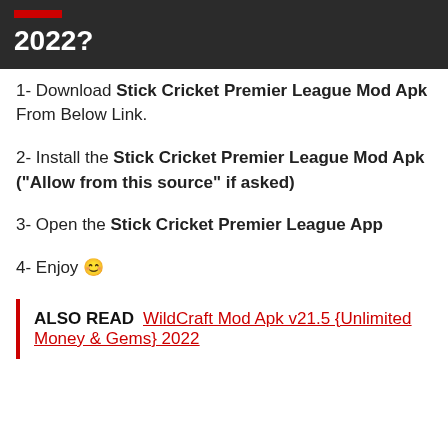2022?
1- Download Stick Cricket Premier League Mod Apk From Below Link.
2- Install the Stick Cricket Premier League Mod Apk ("Allow from this source" if asked)
3- Open the Stick Cricket Premier League App
4- Enjoy 😊
ALSO READ  WildCraft Mod Apk v21.5 {Unlimited Money & Gems} 2022